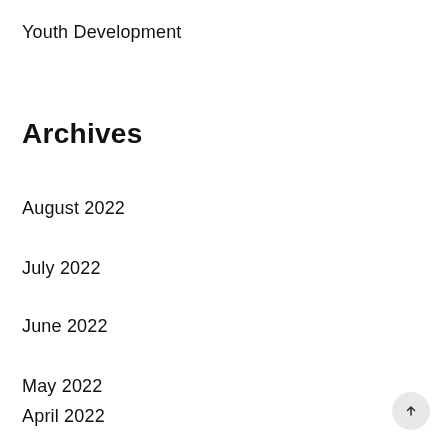Youth Development
Archives
August 2022
July 2022
June 2022
May 2022
April 2022